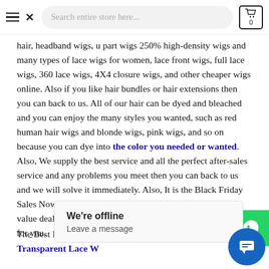Search entire store here... [cart: 0]
hair, headband wigs, u part wigs 250% high-density wigs and many types of lace wigs for women, lace front wigs, full lace wigs, 360 lace wigs, 4X4 closure wigs, and other cheaper wigs online. Also if you like hair bundles or hair extensions then you can back to us. All of our hair can be dyed and bleached and you can enjoy the many styles you wanted, such as red human hair wigs and blonde wigs, pink wigs, and so on because you can dye into the color you needed or wanted. Also, We supply the best service and all the perfect after-sales service and any problems you meet then you can back to us and we will solve it immediately. Also, It is the Black Friday Sales Now and all the hair wigs are on sales and it is a super value deal for all of you guys and hope this will be good news for you.
The Best Popular and Hot Selling Wigs I Recommend: Transparent Lace W...